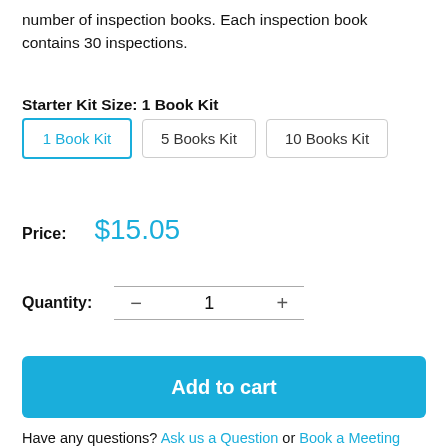number of inspection books. Each inspection book contains 30 inspections.
Starter Kit Size: 1 Book Kit
1 Book Kit | 5 Books Kit | 10 Books Kit
Price: $15.05
Quantity: − 1 +
Add to cart
Have any questions? Ask us a Question or Book a Meeting